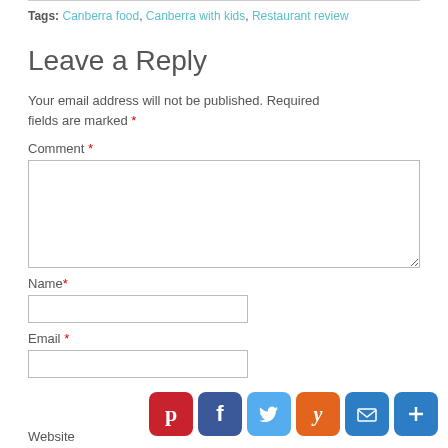Tags: Canberra food, Canberra with kids, Restaurant review
Leave a Reply
Your email address will not be published. Required fields are marked *
Comment *
Name*
Email *
Website
[Figure (screenshot): Social sharing icons: Pinterest, Facebook, Twitter, Yummly, Email, More]